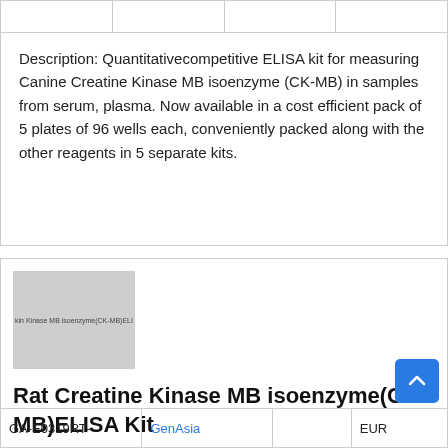Description: Quantitativecompetitive ELISA kit for measuring Canine Creatine Kinase MB isoenzyme (CK-MB) in samples from serum, plasma. Now available in a cost efficient pack of 5 plates of 96 wells each, conveniently packed along with the other reagents in 5 separate kits.
[Figure (photo): Product image placeholder for Rat Creatine Kinase MB isoenzyme (CK-MB) ELISA Kit, shown as a grey rectangle with text overlay.]
Rat Creatine Kinase MB isoenzyme(CK-MB)ELISA Kit
| GA-E0319RT- | GenAsia |  | EUR |
| --- | --- | --- | --- |